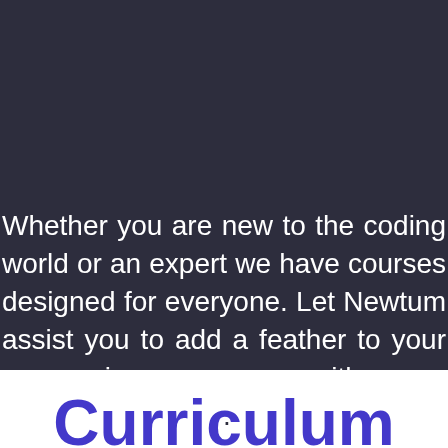Whether you are new to the coding world or an expert we have courses designed for everyone. Let Newtum assist you to add a feather to your programming career with our expertise learning...
[Figure (illustration): Blue circle button with a gift/present icon]
[Figure (illustration): Green circle button with WhatsApp logo icon]
Curriculum